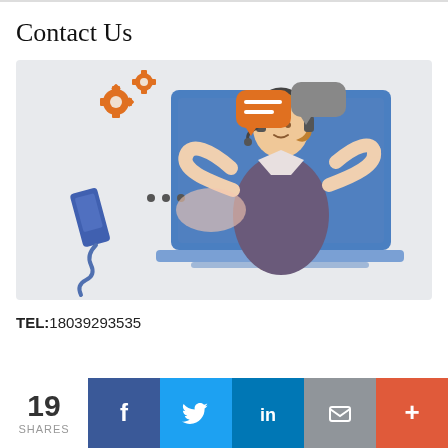Contact Us
[Figure (illustration): Customer service illustration showing a woman with headset emerging from a laptop screen, with phone, chat bubbles, and gear icons]
TEL:18039293535
19 SHARES
f (Facebook share button)
Twitter share button
in (LinkedIn share button)
Email share button
+ (More share button)